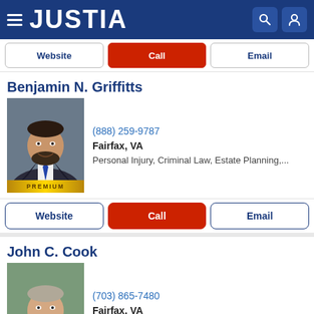JUSTIA
Website | Call | Email
Benjamin N. Griffitts
[Figure (photo): Professional headshot of Benjamin N. Griffitts, a man with beard in a suit and blue tie. PREMIUM badge at bottom.]
(888) 259-9787
Fairfax, VA
Personal Injury, Criminal Law, Estate Planning,...
Website | Call | Email
John C. Cook
[Figure (photo): Professional headshot of John C. Cook, an older man with grey hair in a dark suit. PREMIUM badge at bottom.]
(703) 865-7480
Fairfax, VA
Employment Law, Personal Injury